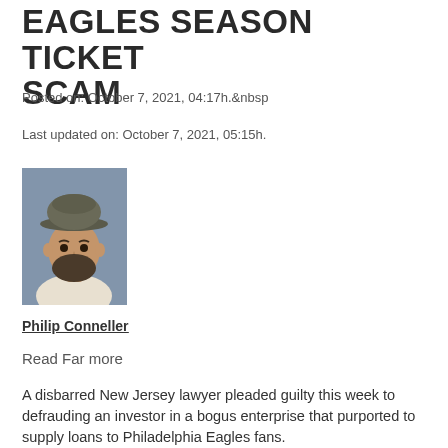EAGLES SEASON TICKET SCAM
Posted on: October 7, 2021, 04:17h.
Last updated on: October 7, 2021, 05:15h.
[Figure (photo): Headshot photo of a bearded man wearing a grey hat, against a blurred background]
Philip Conneller
Read Far more
A disbarred New Jersey lawyer pleaded guilty this week to defrauding an investor in a bogus enterprise that purported to supply loans to Philadelphia Eagles fans.